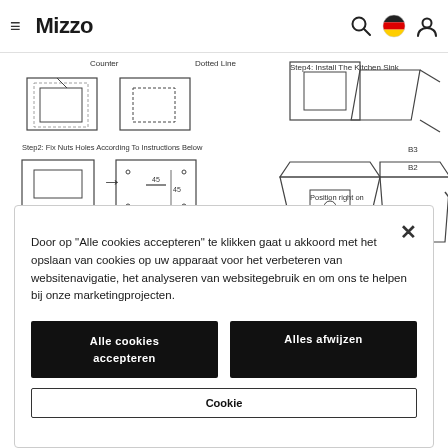[Figure (screenshot): Mizzo website navigation bar with hamburger menu icon, Mizzo logo, search icon, German flag icon, and user account icon]
[Figure (engineering-diagram): Kitchen sink installation instructions diagram showing multiple steps: Counter with dotted line cut-out, Step 2 Fix Nuts Holes According To Instructions Below, Step 4 Install The Kitchen Sink, with labeled parts B3 and B2, and Position right on label]
Door op "Alle cookies accepteren" te klikken gaat u akkoord met het opslaan van cookies op uw apparaat voor het verbeteren van websitenavigatie, het analyseren van websitegebruik en om ons te helpen bij onze marketingprojecten.
Alle cookies accepteren
Alles afwijzen
Cookie